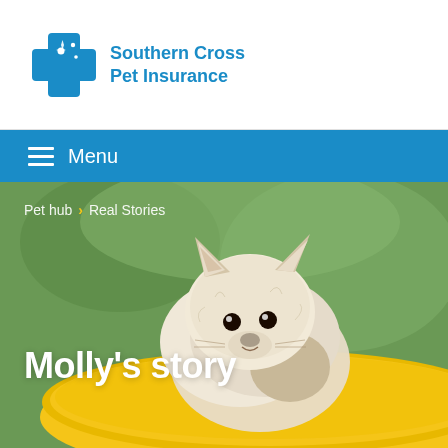[Figure (logo): Southern Cross Pet Insurance logo — blue cross with sparkles icon and blue text]
Menu
[Figure (photo): A fluffy Pomeranian dog peering over a large yellow frisbee, set against a green blurred background. Breadcrumb navigation reads 'Pet hub > Real Stories'. Title overlay reads 'Molly's story'.]
Pet hub  >  Real Stories
Molly's story